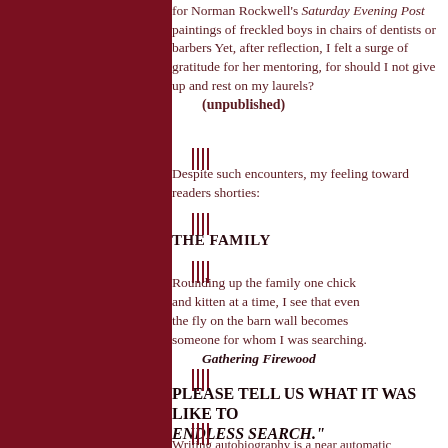for Norman Rockwell's Saturday Evening Post paintings of freckled boys in chairs of dentists or barbers Yet, after reflection, I felt a surge of gratitude for her mentoring, for should I not give up and rest on my laurels? (unpublished)
Despite such encounters, my feeling toward readers shorties:
THE FAMILY
Rounding up the family one chick and kitten at a time, I see that even the fly on the barn wall becomes someone for whom I was searching. Gathering Firewood
PLEASE TELL US WHAT IT WAS LIKE TO ENDLESS SEARCH."
Writing autobiography is a near automatic experience reflection on your past. The Endless Search was me story, for a sequel languishes in manuscript. I believe Dickey said, "The trick is to climb in with the alligato